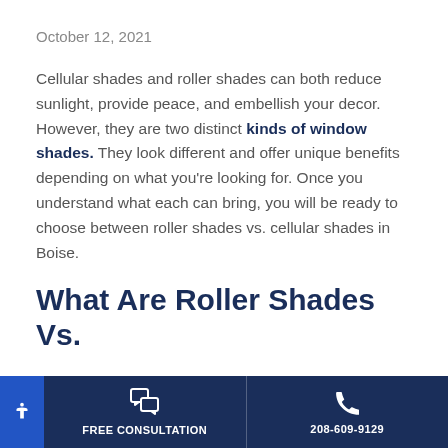October 12, 2021
Cellular shades and roller shades can both reduce sunlight, provide peace, and embellish your decor. However, they are two distinct kinds of window shades. They look different and offer unique benefits depending on what you’re looking for. Once you understand what each can bring, you will be ready to choose between roller shades vs. cellular shades in Boise.
What Are Roller Shades Vs.
FREE CONSULTATION   208-609-9129